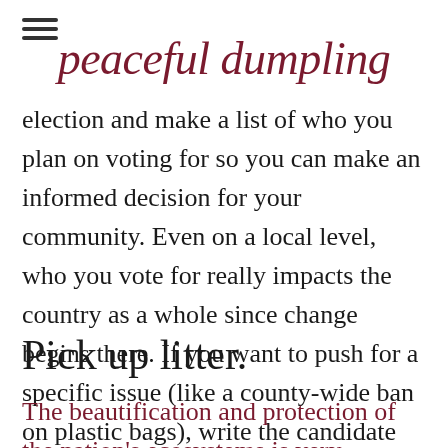≡
peaceful dumpling
election and make a list of who you plan on voting for so you can make an informed decision for your community. Even on a local level, who you vote for really impacts the country as a whole since change begins there. If you want to push for a specific issue (like a county-wide ban on plastic bags), write the candidate you plan on voting for and ask them to make it a part of their campaign.
Pick up litter.
The beautification and protection of the nation's ecosystems is very important to its overall well-